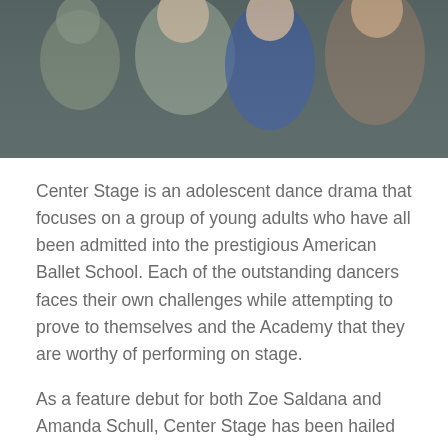[Figure (photo): Photo of young dancers/actors from the film Center Stage, showing multiple people posing together]
Center Stage is an adolescent dance drama that focuses on a group of young adults who have all been admitted into the prestigious American Ballet School. Each of the outstanding dancers faces their own challenges while attempting to prove to themselves and the Academy that they are worthy of performing on stage.
As a feature debut for both Zoe Saldana and Amanda Schull, Center Stage has been hailed as a success.
Films based on the film have also been made, and a TV series is currently under development, as well.
5. White Nights (1985) – 6.7